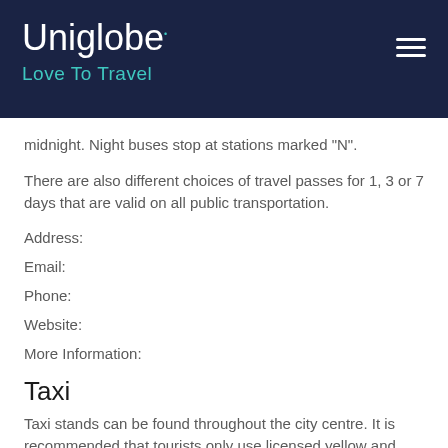Uniglobe. Love To Travel
midnight. Night buses stop at stations marked "N".
There are also different choices of travel passes for 1, 3 or 7 days that are valid on all public transportation.
Address:
Email:
Phone:
Website:
More Information:
Taxi
Taxi stands can be found throughout the city centre. It is recommended that tourists only use licensed yellow and white taxis.